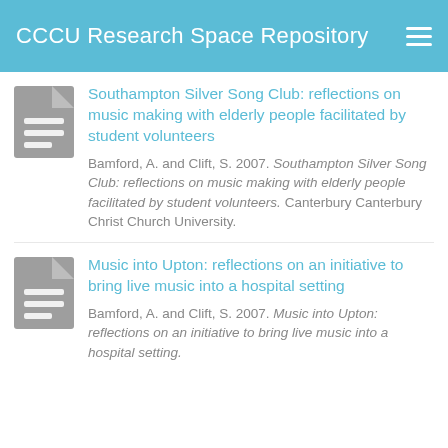CCCU Research Space Repository
Southampton Silver Song Club: reflections on music making with elderly people facilitated by student volunteers
Bamford, A. and Clift, S. 2007. Southampton Silver Song Club: reflections on music making with elderly people facilitated by student volunteers. Canterbury Canterbury Christ Church University.
Music into Upton: reflections on an initiative to bring live music into a hospital setting
Bamford, A. and Clift, S. 2007. Music into Upton: reflections on an initiative to bring live music into a hospital setting.